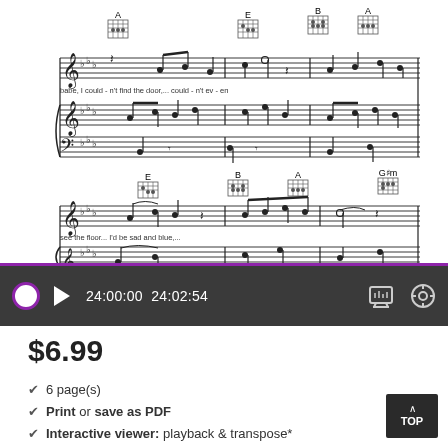[Figure (illustration): Sheet music notation showing two staves with treble and bass clef, chord diagrams (A, E, B, A chords in top system; E, B, A, G#m chords in bottom system), musical notes, and lyrics: 'babe, I couldn't find the door,... couldn't even' and 'see the floor... I'd be sad and blue,...']
[Figure (screenshot): Media player bar with purple circle, play button, time display showing 24:00:00 and 24:02:54, print icon, and settings gear icon]
$6.99
6 page(s)
Print or save as PDF
Interactive viewer: playback & transpose*